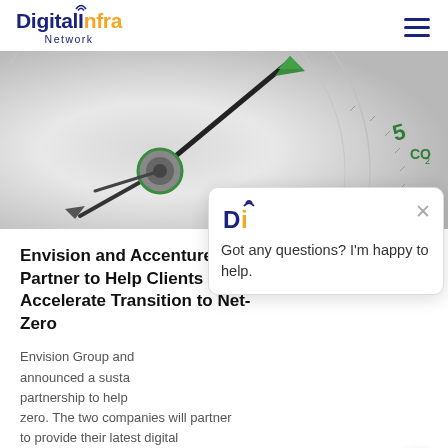Digital Infra Network
[Figure (photo): Close-up of a compass needle pointing upward, with green arrow and CO2 label visible on the compass face, representing sustainability and net-zero transition]
Envision and Accenture Partner to Help Clients Accelerate Transition to Net-Zero
Envision Group and Accenture announced a sustainability partnership to help clients reach net-zero. The two companies will partner to provide their latest digital
Click to View